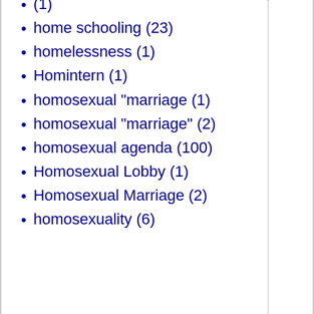(1)
home schooling (23)
homelessness (1)
Homintern (1)
homosexual "marriage (1)
homosexual "marriage" (2)
homosexual agenda (100)
Homosexual Lobby (1)
Homosexual Marriage (2)
homosexuality (6)